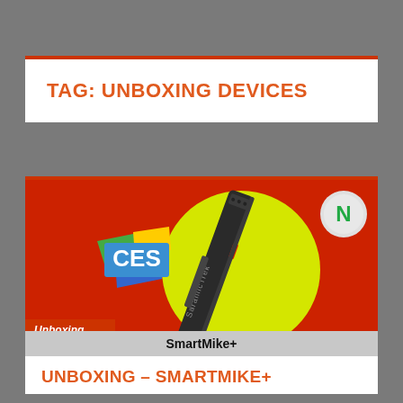TAG: UNBOXING DEVICES
[Figure (photo): Product thumbnail image for SmartMike+ shown on a red background with a yellow circle and CES logo. A dark grey elongated microphone device branded SaramicTrek is displayed diagonally. An orange 'Unboxing' label and 'SmartMike+' caption appear at the bottom.]
UNBOXING – SMARTMIKE+